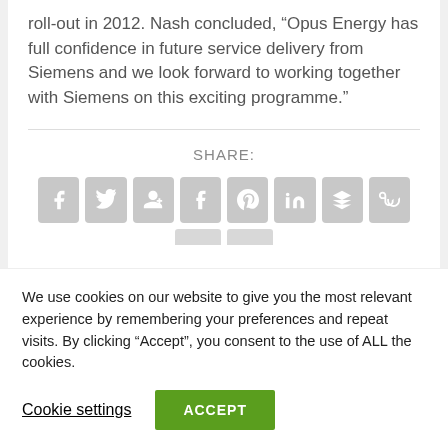roll-out in 2012. Nash concluded, “Opus Energy has full confidence in future service delivery from Siemens and we look forward to working together with Siemens on this exciting programme.”
SHARE:
[Figure (infographic): Social sharing buttons: Facebook, Twitter, Google+, Tumblr, Pinterest, LinkedIn, Buffer, StumbleUpon, and partial buttons below]
We use cookies on our website to give you the most relevant experience by remembering your preferences and repeat visits. By clicking “Accept”, you consent to the use of ALL the cookies.
Cookie settings
ACCEPT